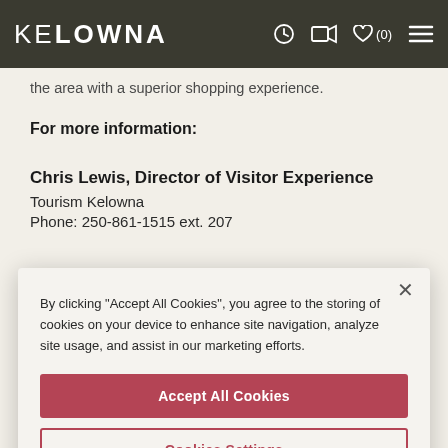KELOWNA — navigation bar with logo, icons, and menu
the area with a superior shopping experience.
For more information:
Chris Lewis, Director of Visitor Experience
Tourism Kelowna
Phone: 250-861-1515 ext. 207
[Figure (screenshot): Cookie consent dialog box with close button (×), text about accepting cookies, an 'Accept All Cookies' button (red), and a 'Cookies Settings' button (red outline)]